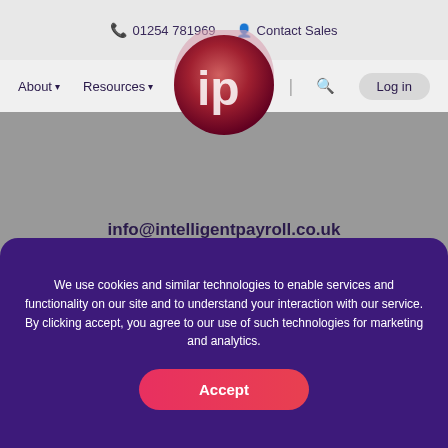📞 01254 781969  👤 Contact Sales
About ▾   Resources ▾   [logo]   Blog   |   🔍   Log in
[Figure (logo): Intelligent Payroll circular logo with stylized 'ip' letters in white on a dark red/maroon and pink gradient background]
info@intelligentpayroll.co.uk
01254 781969
Intelligent Payroll Limited
Suite 1 Business First
Davyfield Road
Blackburn
We use cookies and similar technologies to enable services and functionality on our site and to understand your interaction with our service. By clicking accept, you agree to our use of such technologies for marketing and analytics.
Accept